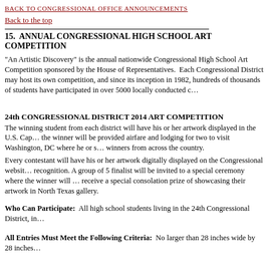BACK TO CONGRESSIONAL OFFICE ANNOUNCEMENTS
Back to the top
15.  ANNUAL CONGRESSIONAL HIGH SCHOOL ART COMPETITION
"An Artistic Discovery" is the annual nationwide Congressional High School Art Competition sponsored by the House of Representatives.  Each Congressional District may host its own competition, and since its inception in 1982, hundreds of thousands of students have participated in over 5000 locally conducted competitions.
24th CONGRESSIONAL DISTRICT 2014 ART COMPETITION
The winning student from each district will have his or her artwork displayed in the U.S. Capitol for one year; the winner will be provided airfare and lodging for two to visit Washington, DC where he or she will meet winners from across the country.
Every contestant will have his or her artwork digitally displayed on the Congressional website for national recognition. A group of 5 finalist will be invited to a special ceremony where the winner will be announced and receive a special consolation prize of showcasing their artwork in North Texas gallery.
Who Can Participate:  All high school students living in the 24th Congressional District, in
All Entries Must Meet the Following Criteria:  No larger than 28 inches wide by 28 inches